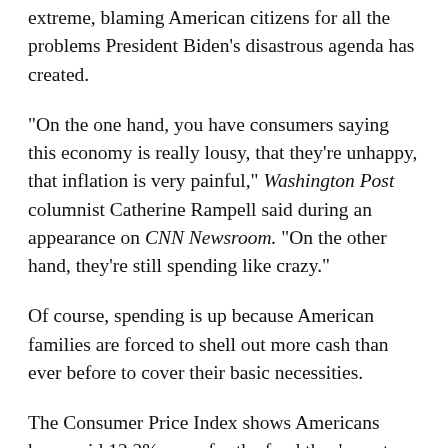extreme, blaming American citizens for all the problems President Biden’s disastrous agenda has created.
“On the one hand, you have consumers saying this economy is really lousy, that they’re unhappy, that inflation is very painful,” Washington Post columnist Catherine Rampell said during an appearance on CNN Newsroom. “On the other hand, they’re still spending like crazy.”
Of course, spending is up because American families are forced to shell out more cash than ever before to cover their basic necessities.
The Consumer Price Index shows Americans have paid 12.2% more for the food they’ve eaten at home over the past year – the biggest jump since 1981.
And that’s even with many Americans — including those